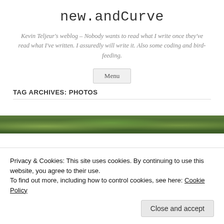new.andCurve
Kevin Teljeur's weblog – Nobody wants to read what I write once they've read what I've written. I assuredly will write it. Also some coding and bird-feeding.
TAG ARCHIVES: PHOTOS
[Figure (photo): Partial view of a nature/forest photo strip at the bottom of the page]
Privacy & Cookies: This site uses cookies. By continuing to use this website, you agree to their use.
To find out more, including how to control cookies, see here: Cookie Policy
Close and accept